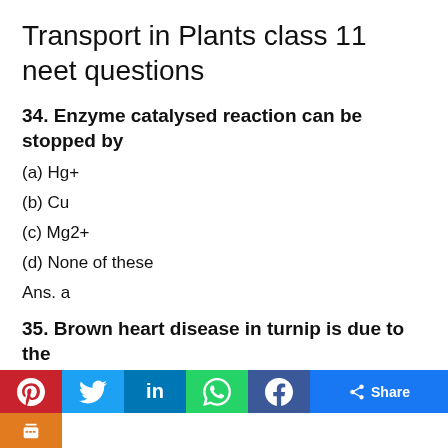Transport in Plants class 11 neet questions
34. Enzyme catalysed reaction can be stopped by
(a) Hg+
(b) Cu
(c) Mg2+
(d) None of these
Ans. a
35. Brown heart disease in turnip is due to the